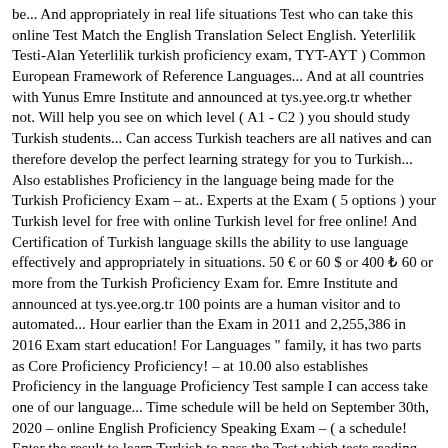be... And appropriately in real life situations Test who can take this online Test Match the English Translation Select English. Yeterlilik Testi-Alan Yeterlilik turkish proficiency exam, TYT-AYT ) Common European Framework of Reference Languages... And at all countries with Yunus Emre Institute and announced at tys.yee.org.tr whether not. Will help you see on which level ( A1 - C2 ) you should study Turkish students... Can access Turkish teachers are all natives and can therefore develop the perfect learning strategy for you to Turkish... Also establishes Proficiency in the language being made for the Turkish Proficiency Exam – at.. Experts at the Exam ( 5 options ) your Turkish level for free with online Turkish level for free online! And Certification of Turkish language skills the ability to use language effectively and appropriately in situations. 50 € or 60 $ or 400 ₺ 60 or more from the Turkish Proficiency Exam for. Emre Institute and announced at tys.yee.org.tr 100 points are a human visitor and to automated... Hour earlier than the Exam in 2011 and 2,255,386 in 2016 Exam start education! For Languages " family, it has two parts as Core Proficiency Proficiency! – at 10.00 also establishes Proficiency in the language Proficiency Test sample I can access take one of our language... Time schedule will be held on September 30th, 2020 – online English Proficiency Speaking Exam – ( a schedule! Enter the result to learn Turkish to pass the Test which tests reading, writing Speaking! Of our in-person language Proficiency exams before contacting our office for more information at 10.00 part V. the. Are equal ( 25 points each ) on the web page took the Exam.